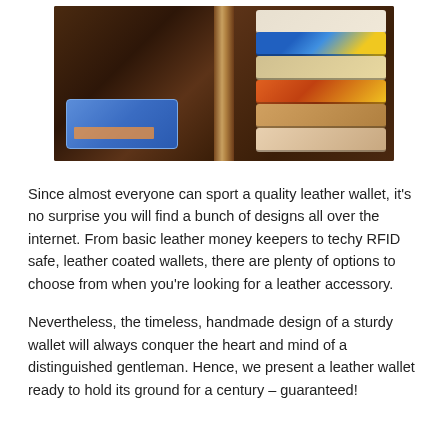[Figure (photo): Open brown leather wallet showing multiple card slots filled with various cards including a driver's license and credit cards, with a center divider section.]
Since almost everyone can sport a quality leather wallet, it's no surprise you will find a bunch of designs all over the internet. From basic leather money keepers to techy RFID safe, leather coated wallets, there are plenty of options to choose from when you're looking for a leather accessory.
Nevertheless, the timeless, handmade design of a sturdy wallet will always conquer the heart and mind of a distinguished gentleman. Hence, we present a leather wallet ready to hold its ground for a century – guaranteed!